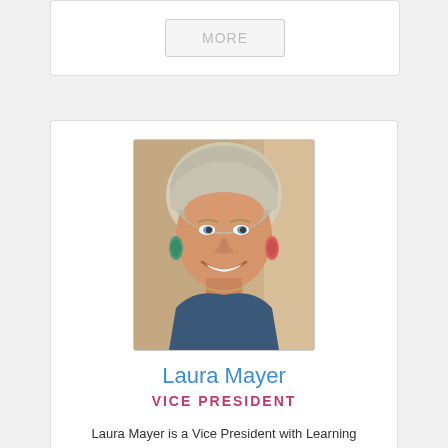[Figure (other): MORE button / card with a gray MORE button]
[Figure (photo): Portrait photo of Laura Mayer, a woman with short blonde/gray hair, smiling, wearing blue earrings]
Laura Mayer
VICE PRESIDENT
Laura Mayer is a Vice President with Learning Dynamics. Over the years Laura has had an extensive amount of experience in training and change management. As Director of Training and Development Strategy at Warner-Lambert Company, she